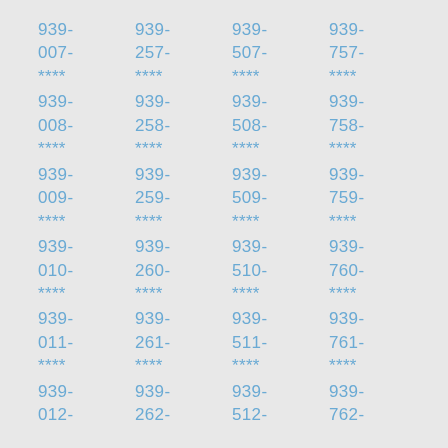939-007-**** 939-257-**** 939-507-**** 939-757-**** 939-008-**** 939-258-**** 939-508-**** 939-758-**** 939-009-**** 939-259-**** 939-509-**** 939-759-**** 939-010-**** 939-260-**** 939-510-**** 939-760-**** 939-011-**** 939-261-**** 939-511-**** 939-761-**** 939-012-**** 939-262-**** 939-512-**** 939-762-****